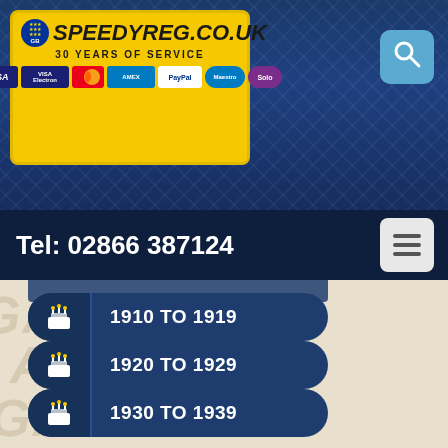[Figure (screenshot): SpeedyReg.co.uk website header with logo plate showing yellow UK number plate style logo, payment method icons (VISA, VISA Electron, Mastercard, Amex, PayPal, Maestro, Solo), search button, and blue diamond pattern background]
Tel: 02866 387124
1910 TO 1919
1920 TO 1929
1930 TO 1939